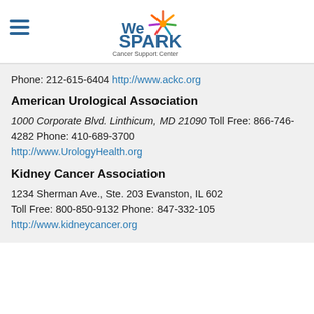[Figure (logo): WeSPARK Cancer Support Center logo with colorful star graphic]
Phone: 212-615-6404 http://www.ackc.org
American Urological Association
1000 Corporate Blvd. Linthicum, MD 21090 Toll Free: 866-746-4282 Phone: 410-689-3700 http://www.UrologyHealth.org
Kidney Cancer Association
1234 Sherman Ave., Ste. 203 Evanston, IL 602 Toll Free: 800-850-9132 Phone: 847-332-105 http://www.kidneycancer.org